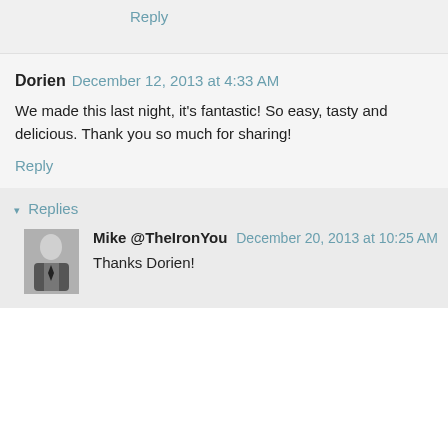Reply
Dorien December 12, 2013 at 4:33 AM
We made this last night, it's fantastic! So easy, tasty and delicious. Thank you so much for sharing!
Reply
▾ Replies
Mike @TheIronYou December 20, 2013 at 10:25 AM
Thanks Dorien!